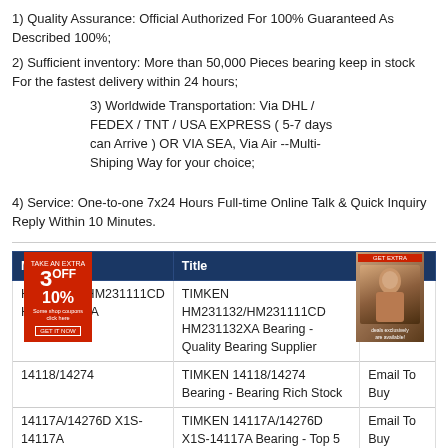1) Quality Assurance: Official Authorized For 100% Guaranteed As Described 100%;
2) Sufficient inventory: More than 50,000 Pieces bearing keep in stock For the fastest delivery within 24 hours;
3) Worldwide Transportation: Via DHL / FEDEX / TNT / USA EXPRESS ( 5-7 days can Arrive ) OR VIA SEA, Via Air --Multi-Shiping Way for your choice;
4) Service: One-to-one 7x24 Hours Full-time Online Talk & Quick Inquiry Reply Within 10 Minutes.
[Figure (other): Two advertisement banners: left red banner with '3OFF 10%' discount coupon, right brown banner with a person image]
| Model | Title | Price |
| --- | --- | --- |
| HM231132/HM231111CD HM231132XA | TIMKEN HM231132/HM231111CD HM231132XA Bearing - Quality Bearing Supplier | Email To Buy |
| 14118/14274 | TIMKEN 14118/14274 Bearing - Bearing Rich Stock | Email To Buy |
| 14117A/14276D X1S-14117A | TIMKEN 14117A/14276D X1S-14117A Bearing - Top 5 Bearing | Email To Buy |
| L327249/L327210D | TIMKEN L327249/L327210D | Email To |